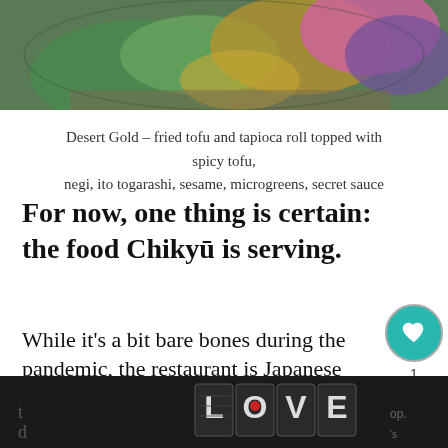[Figure (photo): Top portion of a food photo showing a Japanese dish on a plate with green leaves, garnishes, purple flower, golden elements on a wooden surface]
Desert Gold – fried tofu and tapioca roll topped with spicy tofu, negi, ito togarashi, sesame, microgreens, secret sauce
For now, one thing is certain: the food Chikyū is serving.
While it's a bit bare bones during the pandemic, the restaurant is Japanese and based around a sushi bar and kitchen, so
[Figure (illustration): Advertisement banner with decorative LOVE text logo in black and white illustrated style with a red heart detail, on dark background with close button]